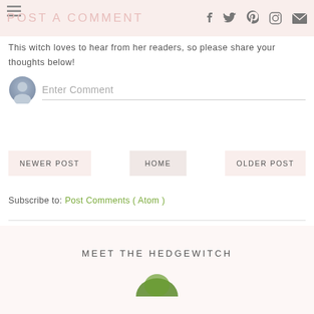POST A COMMENT
This witch loves to hear from her readers, so please share your thoughts below!
[Figure (other): Comment input field with avatar placeholder and 'Enter Comment' placeholder text]
NEWER POST | HOME | OLDER POST
Subscribe to: Post Comments ( Atom )
MEET THE HEDGEWITCH
[Figure (photo): Partial profile photo at bottom of page]